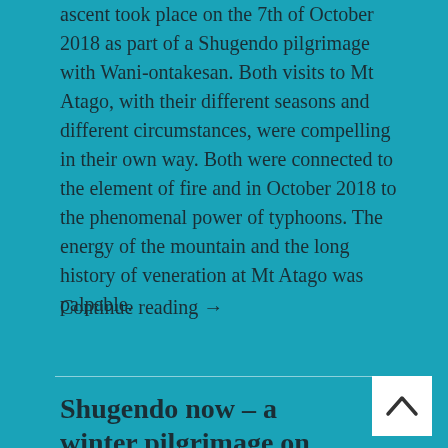ascent took place on the 7th of October 2018 as part of a Shugendo pilgrimage with Wani-ontakesan. Both visits to Mt Atago, with their different seasons and different circumstances, were compelling in their own way. Both were connected to the element of fire and in October 2018 to the phenomenal power of typhoons. The energy of the mountain and the long history of veneration at Mt Atago was palpable.
Continue reading →
Shugendo now – a winter pilgrimage on Mt Ontake, Japan